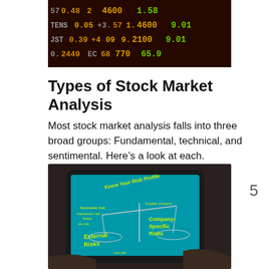[Figure (photo): Stock market ticker board showing numbers in red, yellow, and green on dark background]
Types of Stock Market Analysis
Most stock market analysis falls into three broad groups: Fundamental, technical, and sentimental. Here's a look at each.
[Figure (photo): Hands holding a tablet displaying 'Know Your Risk Profile' infographic with External Risks and Company-Specific Risks on a teal background]
5